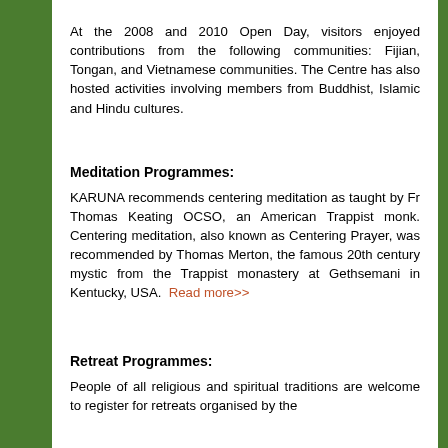At the 2008 and 2010 Open Day, visitors enjoyed contributions from the following communities: Fijian, Tongan, and Vietnamese communities. The Centre has also hosted activities involving members from Buddhist, Islamic and Hindu cultures.
Meditation Programmes:
KARUNA recommends centering meditation as taught by Fr Thomas Keating OCSO, an American Trappist monk. Centering meditation, also known as Centering Prayer, was recommended by Thomas Merton, the famous 20th century mystic from the Trappist monastery at Gethsemani in Kentucky, USA. Read more>>
Retreat Programmes:
People of all religious and spiritual traditions are welcome to register for retreats organised by the